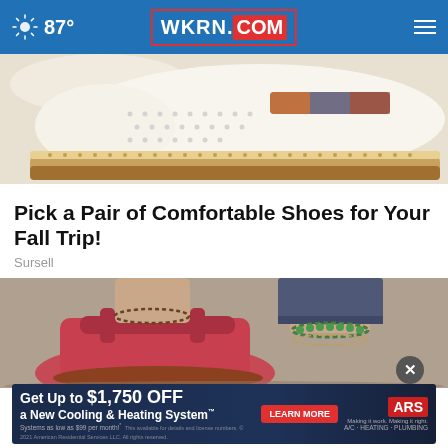87° WKRN.COM
[Figure (photo): Close-up of a white perforated casual shoe with striped fabric accent and cork/beige braided sole]
Pick a Pair of Comfortable Shoes for Your Fall Trip!
Sursell
[Figure (photo): Close-up of woman's feet wearing pink/red open-heel sandals with ankle bracelets, wearing dark jeans]
[Figure (infographic): Advertisement banner: Get Up to $1,750 OFF a New Cooling & Heating System. Systems as low as $99 per month! LEARN MORE. ARS. A/C · HEATING · PLUMBING]